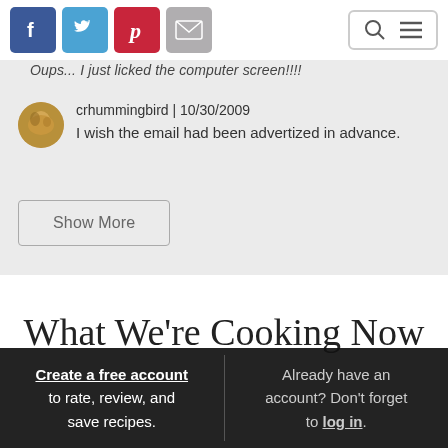Social icons (Facebook, Twitter, Pinterest, Email) and search/menu controls
Oups... I just licked the computer screen!!!!
crhummingbird | 10/30/2009
I wish the email had been advertized in advance.
Show More
What We're Cooking Now
Create a free account to rate, review, and save recipes. Already have an account? Don't forget to log in.